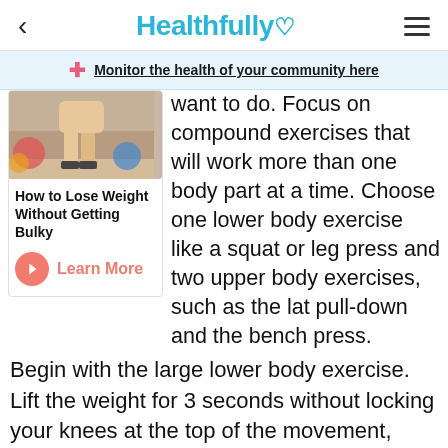Healthfully
Monitor the health of your community here
[Figure (photo): A person exercising in a gym with exercise balls in the background]
How to Lose Weight Without Getting Bulky
Learn More
want to do. Focus on compound exercises that will work more than one body part at a time. Choose one lower body exercise like a squat or leg press and two upper body exercises, such as the lat pull-down and the bench press. Begin with the large lower body exercise. Lift the weight for 3 seconds without locking your knees at the top of the movement, then lower the weight for 3 seconds. Do 10 repetitions. Move on to the upper body exercises. Do 10 repetitions of each.